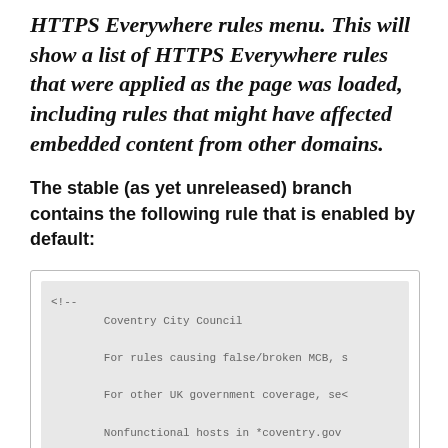HTTPS Everywhere rules menu. This will show a list of HTTPS Everywhere rules that were applied as the page was loaded, including rules that might have affected embedded content from other domains.
The stable (as yet unreleased) branch contains the following rule that is enabled by default:
[Figure (screenshot): Code block showing an XML comment with Coventry City Council configuration, including notes about false/broken MCB, UK government coverage, nonfunctional hosts, and list items: cyclemaps, democraticservices, epetitions, moderngov]